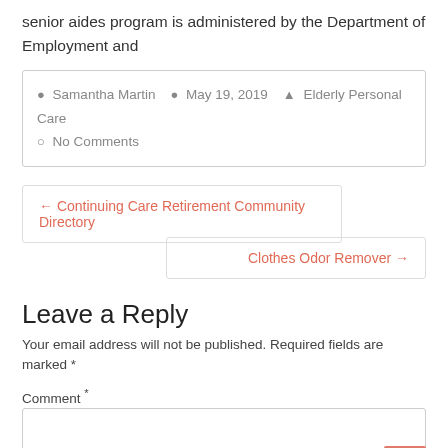senior aides program is administered by the Department of Employment and
Samantha Martin   May 19, 2019   Elderly Personal Care   No Comments
← Continuing Care Retirement Community Directory
Clothes Odor Remover →
Leave a Reply
Your email address will not be published. Required fields are marked *
Comment *